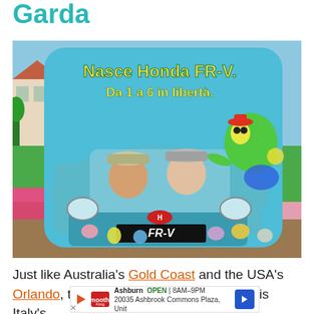Garda
[Figure (photo): Two children posing through a cut-out Honda FR-V car advertisement display. The display is light blue with text 'Nasce Honda FR-V. Da 1 a 6 in libertà.' and a cartoon character. The children wear baseball caps. Background shows green lawn and pink flowers.]
Just like Australia's Gold Coast and the USA's Orlando, the southern end of Lake Garda is Italy's theme...
[Figure (infographic): Advertisement bar: Ashburn OPEN 8AM-9PM, 20035 Ashbrook Commons Plaza, Unit — Smoothie King logo with navigation arrow]